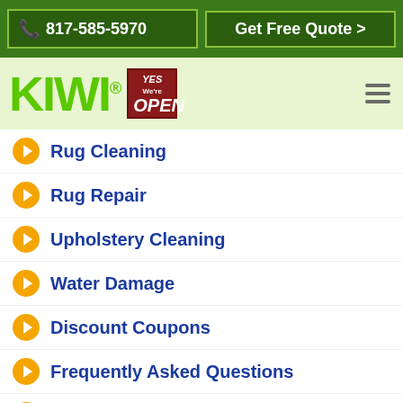817-585-5970 | Get Free Quote >
[Figure (logo): KIWI logo with registered trademark symbol and YES We're OPEN badge]
Rug Cleaning
Rug Repair
Upholstery Cleaning
Water Damage
Discount Coupons
Frequently Asked Questions
Reviews
Flooded? emergency help